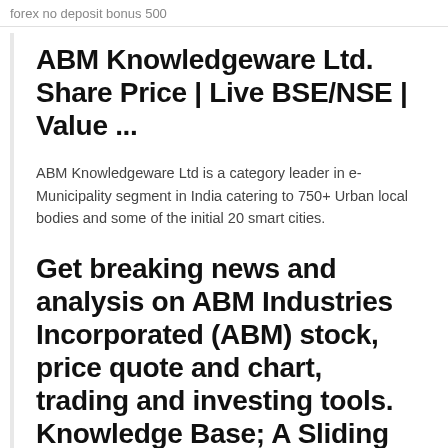forex no deposit bonus 500
ABM Knowledgeware Ltd. Share Price | Live BSE/NSE | Value ...
ABM Knowledgeware Ltd is a category leader in e-Municipality segment in India catering to 750+ Urban local bodies and some of the initial 20 smart cities.
Get breaking news and analysis on ABM Industries Incorporated (ABM) stock, price quote and chart, trading and investing tools. Knowledge Base; A Sliding Share Price Has Us Looking At ABM